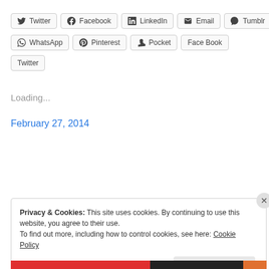Twitter
Facebook
LinkedIn
Email
Tumblr
WhatsApp
Pinterest
Pocket
Face Book
Twitter
Loading...
February 27, 2014
Privacy & Cookies: This site uses cookies. By continuing to use this website, you agree to their use.
To find out more, including how to control cookies, see here: Cookie Policy
Close and accept